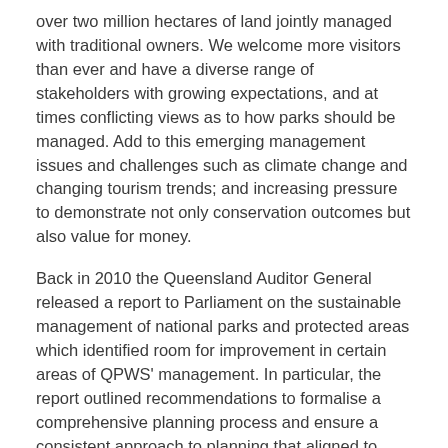over two million hectares of land jointly managed with traditional owners. We welcome more visitors than ever and have a diverse range of stakeholders with growing expectations, and at times conflicting views as to how parks should be managed. Add to this emerging management issues and challenges such as climate change and changing tourism trends; and increasing pressure to demonstrate not only conservation outcomes but also value for money.
Back in 2010 the Queensland Auditor General released a report to Parliament on the sustainable management of national parks and protected areas which identified room for improvement in certain areas of QPWS' management. In particular, the report outlined recommendations to formalise a comprehensive planning process and ensure a consistent approach to planning that aligned to international best practice protected area guidelines; formalise a monitoring and evaluation framework; and develop appropriate performance indicators that represent the agency's achievements in